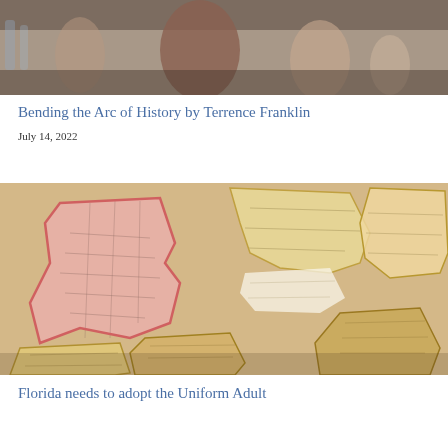[Figure (photo): Raised hands of diverse people, including a prominent older hand in the center]
Bending the Arc of History by Terrence Franklin
July 14, 2022
[Figure (photo): Wooden puzzle pieces shaped like US states decorated with vintage map prints, with a large pink Texas piece prominent]
Florida needs to adopt the Uniform Adult